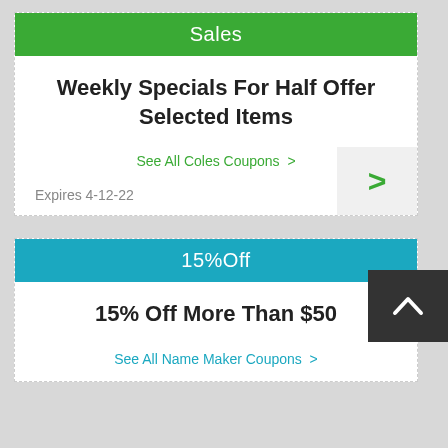Sales
Weekly Specials For Half Offer Selected Items
See All Coles Coupons >
Expires 4-12-22
15%Off
15% Off More Than $50
See All Name Maker Coupons >